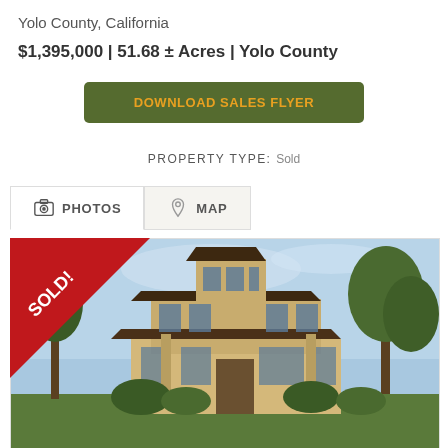Yolo County, California
$1,395,000 | 51.68 ± Acres | Yolo County
DOWNLOAD SALES FLYER
PROPERTY TYPE: Sold
PHOTOS
MAP
[Figure (photo): Two-story craftsman/mission-style house with wide eaves and a central tower feature, surrounded by trees under a blue sky. A red diagonal 'SOLD!' ribbon banner overlays the top-left corner of the photo.]